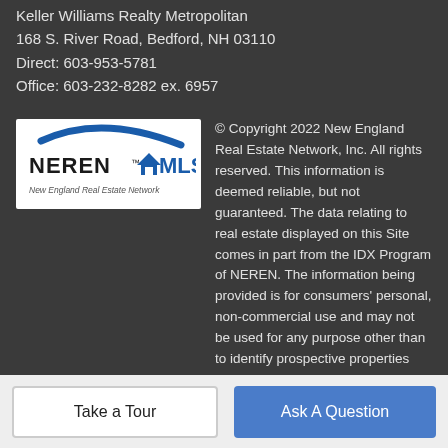Keller Williams Realty Metropolitan
168 S. River Road, Bedford, NH 03110
Direct: 603-953-5781
Office: 603-232-8282 ex. 6957
[Figure (logo): NEREN MLS - New England Real Estate Network logo with blue swoosh and house icon]
© Copyright 2022 New England Real Estate Network, Inc. All rights reserved. This information is deemed reliable, but not guaranteed. The data relating to real estate displayed on this Site comes in part from the IDX Program of NEREN. The information being provided is for consumers' personal, non-commercial use and may not be used for any purpose other than to identify prospective properties consumers may be interested in purchasing. Data last updated 2022-08-25T23:06:32.143.
Take a Tour
Ask A Question